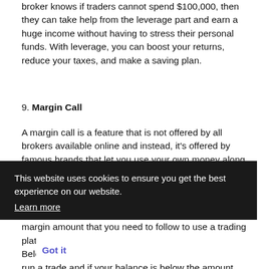broker knows if traders cannot spend $100,000, then they can take help from the leverage part and earn a huge income without having to stress their personal funds. With leverage, you can boost your returns, reduce your taxes, and make a saving plan.
9. Margin Call
A margin call is a feature that is not offered by all brokers available online and instead, it's offered by famous brands that let you use your own money along with the brand's fund too i.e. the money a broker gives to you. You can use the money to buy stocks, bonds, cryptocurrencies, forex and more. Margin funds are borrowed funds. There is the maintenance of the margin amount that you need to follow to use a trading platform, and it's known as maintenance margin. Below a specific amount in your account, you cannot run a trade and if your balance is below the amount, you will hit a margin call. Thus, a reliable trading platform won't get a margin call above 60%.
This website uses cookies to ensure you get the best experience on our website. Learn more
Got it